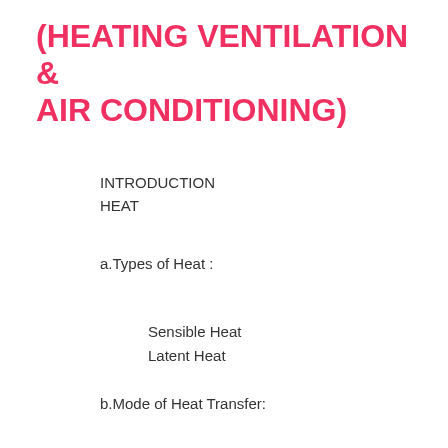(HEATING VENTILATION & AIR CONDITIONING)
INTRODUCTION
HEAT
a.Types of Heat :
Sensible Heat
Latent Heat
b.Mode of Heat Transfer:
Conduction
Convection
Radiation